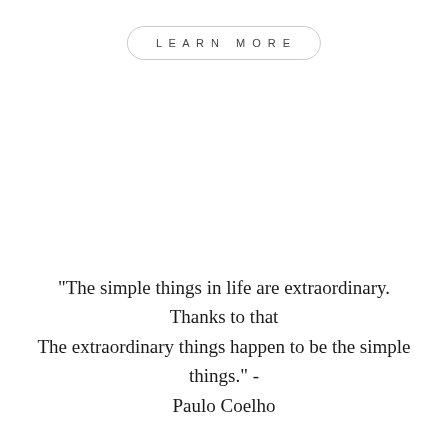LEARN MORE
"The simple things in life are extraordinary. Thanks to that The extraordinary things happen to be the simple things." - Paulo Coelho